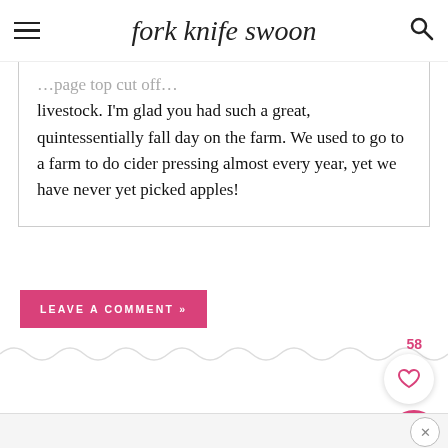fork knife swoon
livestock. I'm glad you had such a great, quintessentially fall day on the farm. We used to go to a farm to do cider pressing almost every year, yet we have never yet picked apples!
LEAVE A COMMENT »
[Figure (other): Wavy decorative divider line with like count 58 and heart/search buttons]
[Figure (other): Footer bar with close X button]